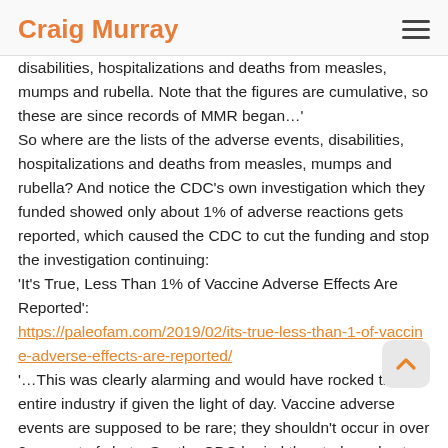Craig Murray
disabilities, hospitalizations and deaths from measles, mumps and rubella. Note that the figures are cumulative, so these are since records of MMR began…'
So where are the lists of the adverse events, disabilities, hospitalizations and deaths from measles, mumps and rubella? And notice the CDC's own investigation which they funded showed only about 1% of adverse reactions gets reported, which caused the CDC to cut the funding and stop the investigation continuing:
'It's True, Less Than 1% of Vaccine Adverse Effects Are Reported':
https://paleofam.com/2019/02/its-true-less-than-1-of-vaccine-adverse-effects-are-reported/
'…This was clearly alarming and would have rocked the entire industry if given the light of day. Vaccine adverse events are supposed to be rare; they shouldn't occur in over 2 percent of shots. So, the CDC buried the study and cut ties with the researchers.
The researchers…